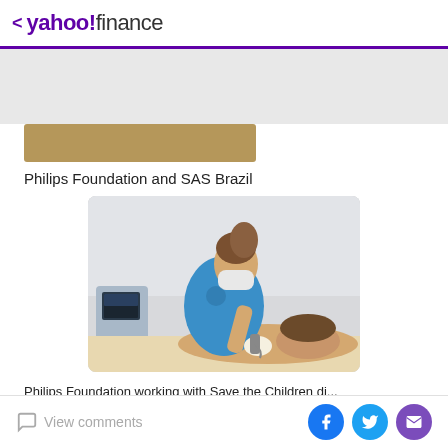< yahoo!finance
[Figure (photo): Gray banner advertisement area at top of page]
[Figure (photo): Partial cropped photo strip showing a warm-toned image, partially visible]
Philips Foundation and SAS Brazil
[Figure (photo): A healthcare worker in a blue shirt and face mask performing an ultrasound or medical scan on a patient lying on a table, in a clinical setting]
Philips Foundation working with Save the Children di...
View comments | Facebook | Twitter | Email